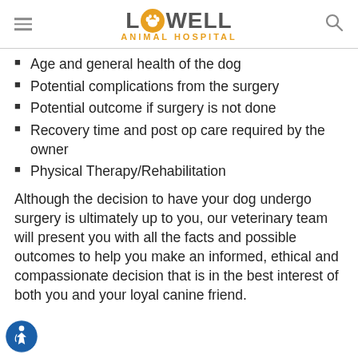LOWELL ANIMAL HOSPITAL
Age and general health of the dog
Potential complications from the surgery
Potential outcome if surgery is not done
Recovery time and post op care required by the owner
Physical Therapy/Rehabilitation
Although the decision to have your dog undergo surgery is ultimately up to you, our veterinary team will present you with all the facts and possible outcomes to help you make an informed, ethical and compassionate decision that is in the best interest of both you and your loyal canine friend.